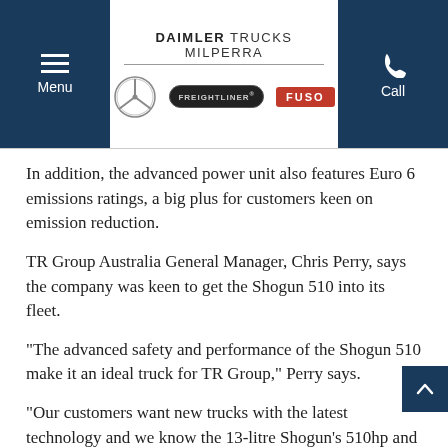[Figure (screenshot): Website header for Daimler Trucks Milperra with menu button, brand logos (Mercedes-Benz, Freightliner, FUSO), and call button]
In addition, the advanced power unit also features Euro 6 emissions ratings, a big plus for customers keen on emission reduction.
TR Group Australia General Manager, Chris Perry, says the company was keen to get the Shogun 510 into its fleet.
"The advanced safety and performance of the Shogun 510 make it an ideal truck for TR Group," Perry says.
"Our customers want new trucks with the latest technology and we know the 13-litre Shogun's 510hp and especially its 2500Nm of torque is sure to make it a popular addition to our fleet," he adds.
Perry said the Shogun 510's safety technology was a big plus.